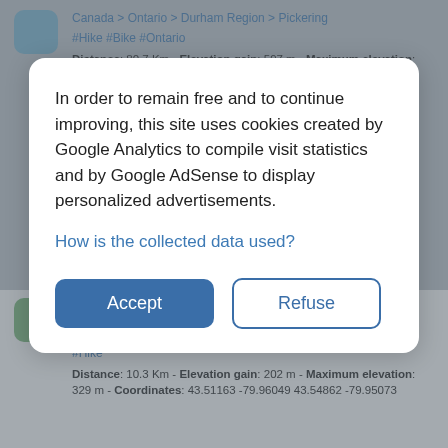Canada > Ontario > Durham Region > Pickering
#Hike #Bike #Ontario
Distance: 80.7 Km - Elevation gain: 597 m - Maximum elevation: 129 m - Coordinates: 43.79465 -79.11770 43.91711 -78.43903
Start: 309, Dyson Road, Rosebank Station, Pickering, Durham Region, Golden Horseshoe, Ontario, L1W 2B2, Canada (43.79465 -79.11770)
In order to remain free and to continue improving, this site uses cookies created by Google Analytics to compile visit statistics and by Google AdSense to display personalized advertisements.
How is the collected data used?
Accept
Refuse
Dufferin Quarry Bridge - Bruce Trail
Canada > Ontario > Halton Region > Milton
#Hike
Distance: 10.3 Km - Elevation gain: 202 m - Maximum elevation: 329 m - Coordinates: 43.51163 -79.96049 43.54862 -79.95073